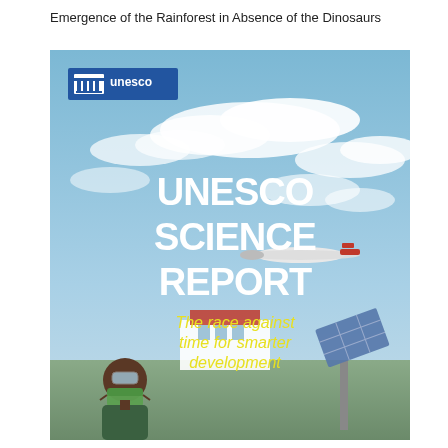Emergence of the Rainforest in Absence of the Dinosaurs
[Figure (photo): Cover of the UNESCO Science Report titled 'The race against time for smarter development'. The cover shows a blue sky with clouds background. In the upper left is the UNESCO logo (white building icon on blue background) with the text 'unesco'. The main text 'UNESCO SCIENCE REPORT' appears in large white bold letters, and below it in yellow italic text 'The race against time for smarter development'. In the lower portion, a person wearing a medical mask is visible along with a drone/UAV aircraft and what appears to be solar panel equipment.]